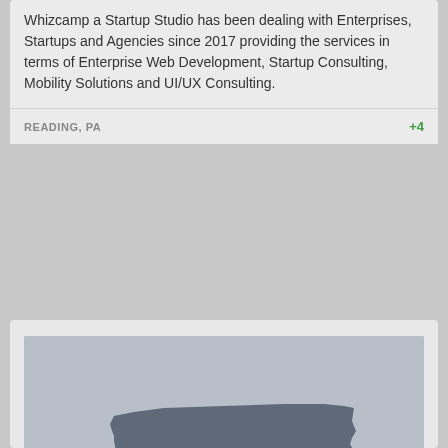Whizcamp a Startup Studio has been dealing with Enterprises, Startups and Agencies since 2017 providing the services in terms of Enterprise Web Development, Startup Consulting, Mobility Solutions and UI/UX Consulting.
READING, PA
+4
[Figure (map): Silhouette map of the state of Pennsylvania on a light gray background]
SO Designs, LLC